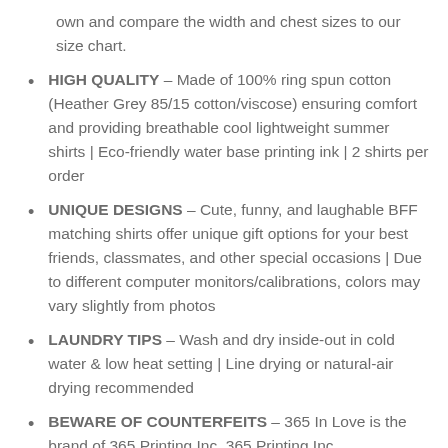own and compare the width and chest sizes to our size chart.
HIGH QUALITY – Made of 100% ring spun cotton (Heather Grey 85/15 cotton/viscose) ensuring comfort and providing breathable cool lightweight summer shirts | Eco-friendly water base printing ink | 2 shirts per order
UNIQUE DESIGNS – Cute, funny, and laughable BFF matching shirts offer unique gift options for your best friends, classmates, and other special occasions | Due to different computer monitors/calibrations, colors may vary slightly from photos
LAUNDRY TIPS – Wash and dry inside-out in cold water & low heat setting | Line drying or natural-air drying recommended
BEWARE OF COUNTERFEITS – 365 In Love is the brand of 365 Printing Inc. 365 Printing Inc